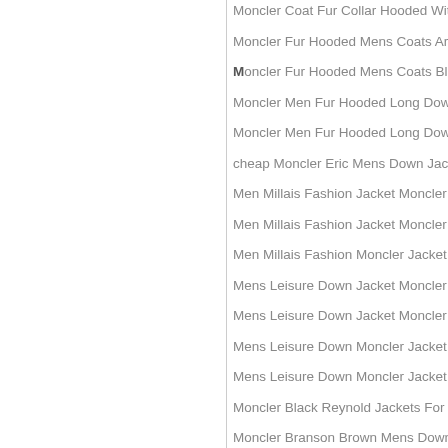Moncler Coat Fur Collar Hooded With
Moncler Fur Hooded Mens Coats Army
Moncler Fur Hooded Mens Coats Blac
Moncler Men Fur Hooded Long Down
Moncler Men Fur Hooded Long Down
cheap Moncler Eric Mens Down Jacke
Men Millais Fashion Jacket Moncler Bl
Men Millais Fashion Jacket Moncler G
Men Millais Fashion Moncler Jacket N
Mens Leisure Down Jacket Moncler Bl
Mens Leisure Down Jacket Moncler Ro
Mens Leisure Down Moncler Jacket Ap
Mens Leisure Down Moncler Jacket Si
Moncler Black Reynold Jackets For M
Moncler Branson Brown Mens Down